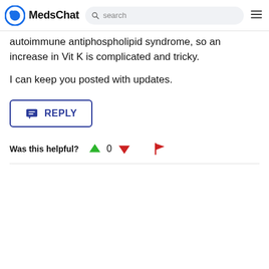MedsChat
autoimmune antiphospholipid syndrome, so an increase in Vit K is complicated and tricky.
I can keep you posted with updates.
[Figure (other): Reply button with chat icon and text REPLY, outlined in blue]
Was this helpful? 0